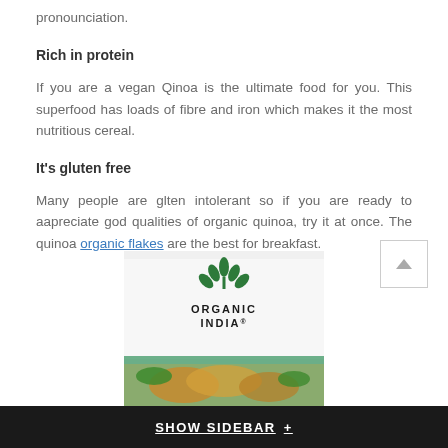pronounciation.
Rich in protein
If you are a vegan Qinoa is the ultimate food for you. This superfood has loads of fibre and iron which makes it the most nutritious cereal.
It's gluten free
Many people are glten intolerant so if you are ready to aapreciate god qualities of organic quinoa, try it at once. The quinoa organic flakes are the best for breakfast.
[Figure (photo): Organic India product box showing the Organic India logo (green lotus leaf design) with food dish below it]
SHOW SIDEBAR +